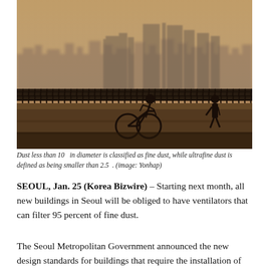[Figure (photo): Hazy smog-filled skyline of Seoul with silhouettes of high-rise buildings in the background and people on a riverside promenade in the foreground, one riding a bicycle. The scene is shot against a golden-orange haze.]
Dust less than 10   in diameter is classified as fine dust, while ultrafine dust is defined as being smaller than 2.5 . (image: Yonhap)
SEOUL, Jan. 25 (Korea Bizwire) – Starting next month, all new buildings in Seoul will be obliged to have ventilators that can filter 95 percent of fine dust.
The Seoul Metropolitan Government announced the new design standards for buildings that require the installation of air